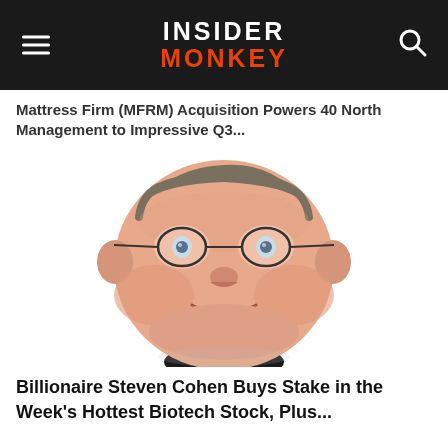INSIDER MONKEY
Mattress Firm (MFRM) Acquisition Powers 40 North Management to Impressive Q3...
[Figure (illustration): Caricature illustration of Billionaire Steven Cohen — a heavyset man with glasses, short grey-brown hair, smiling, wearing a dark jacket. Bobblehead/caricature style with exaggerated large round face.]
Billionaire Steven Cohen Buys Stake in the Week's Hottest Biotech Stock, Plus...